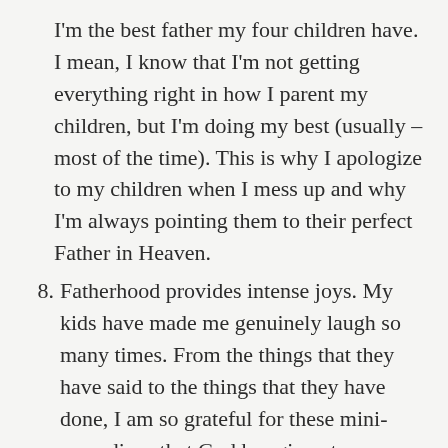I'm the best father my four children have. I mean, I know that I'm not getting everything right in how I parent my children, but I'm doing my best (usually – most of the time). This is why I apologize to my children when I mess up and why I'm always pointing them to their perfect Father in Heaven.
8. Fatherhood provides intense joys. My kids have made me genuinely laugh so many times. From the things that they have said to the things that they have done, I am so grateful for these mini-comedians that God has given to me.
9. My kids are still young (10, 8, 4, and 1). That means I have yet to experience the teenage years. Help me by praying for me